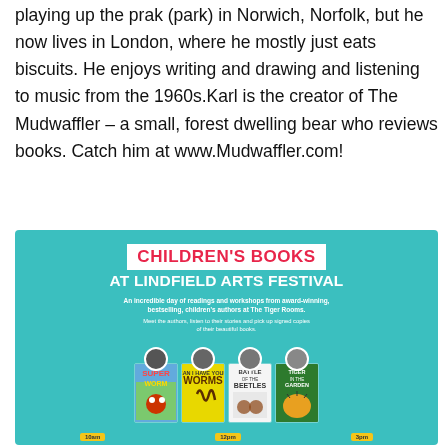playing up the prak (park) in Norwich, Norfolk, but he now lives in London, where he mostly just eats biscuits. He enjoys writing and drawing and listening to music from the 1960s.Karl is the creator of The Mudwaffler – a small, forest dwelling bear who reviews books. Catch him at www.Mudwaffler.com!
[Figure (infographic): Promotional banner for Children's Books at Lindfield Arts Festival. Teal/turquoise background with the title 'CHILDREN'S BOOKS' in a white box in pink/red bold text, and 'AT LINDFIELD ARTS FESTIVAL' in white bold uppercase text below. Descriptive text: 'An incredible day of readings and workshops from award-winning, bestselling, children's authors at The Tiger Rooms.' and 'Meet the authors, listen to their stories and pick up signed copies of their beautiful books.' Shows four book covers with circular author photos: Superworm, Can I Have Your Worms, Battle of the Beetles, Tiger in the Garden. Time labels at bottom: 10am, 12pm, 3pm.]